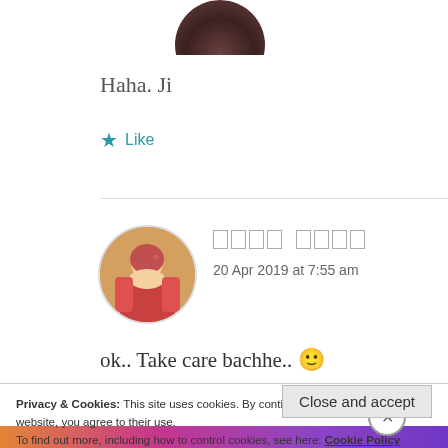[Figure (photo): Circular avatar of a person at the top of the page, partially cropped]
Haha. Ji
★ Like
[Figure (photo): Circular avatar of a person in traditional Indian dress (second commenter)]
□□□□ □□□□
20 Apr 2019 at 7:55 am
ok.. Take care bachhe.. 🙂
Privacy & Cookies: This site uses cookies. By continuing to use this website, you agree to their use.
To find out more, including how to control cookies, see here: Cookie Policy
Close and accept